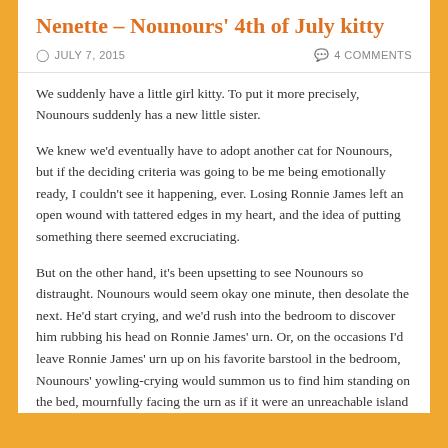Nenette – Nounours' 4th of July kitty
JULY 7, 2015    4 COMMENTS
We suddenly have a little girl kitty. To put it more precisely, Nounours suddenly has a new little sister.
We knew we'd eventually have to adopt another cat for Nounours, but if the deciding criteria was going to be me being emotionally ready, I couldn't see it happening, ever. Losing Ronnie James left an open wound with tattered edges in my heart, and the idea of putting something there seemed excruciating.
But on the other hand, it's been upsetting to see Nounours so distraught. Nounours would seem okay one minute, then desolate the next. He'd start crying, and we'd rush into the bedroom to discover him rubbing his head on Ronnie James' urn. Or, on the occasions I'd leave Ronnie James' urn up on his favorite barstool in the bedroom, Nounours' yowling-crying would summon us to find him standing on the bed, mournfully facing the urn as if it were an unreachable island